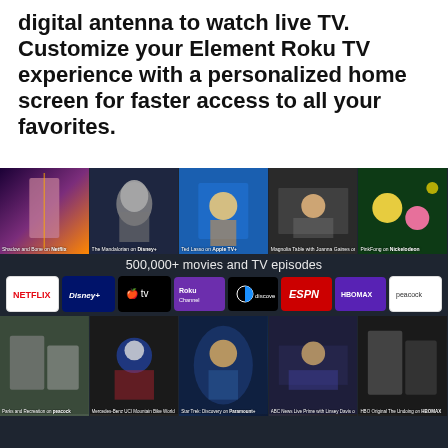digital antenna to watch live TV. Customize your Element Roku TV experience with a personalized home screen for faster access to all your favorites.
[Figure (screenshot): Roku TV interface screenshot showing streaming content thumbnails (Shadow and Bone on Netflix, The Mandalorian on Disney+, Ted Lasso on Apple TV+, Magnolia Table with Joanna Gaines on Discovery+, PinkFong on Nickelodeon), the text '500,000+ movies and TV episodes', streaming service logos (Netflix, Disney+, Apple TV, Roku Channel, Discovery+, ESPN, HBO Max, Peacock), and bottom thumbnails (Parks and Recreation on Peacock, Mercedes-Benz UCI Mountain Bike World Cup on Red Bull, Star Trek: Discovery on Paramount+, ABC News Live Prime with Linsey Davis on ABC News Live, HBO Original The Undoing on HBO Max)]